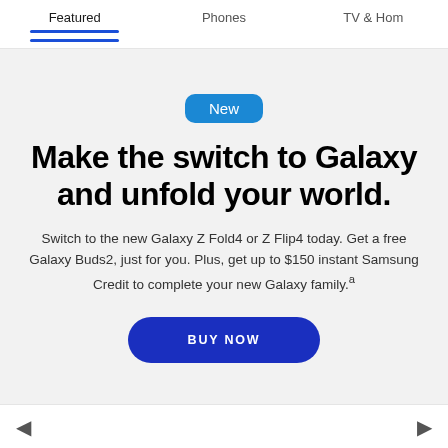Featured | Phones | TV & Home
New
Make the switch to Galaxy and unfold your world.
Switch to the new Galaxy Z Fold4 or Z Flip4 today. Get a free Galaxy Buds2, just for you. Plus, get up to $150 instant Samsung Credit to complete your new Galaxy family.ᵃ
BUY NOW